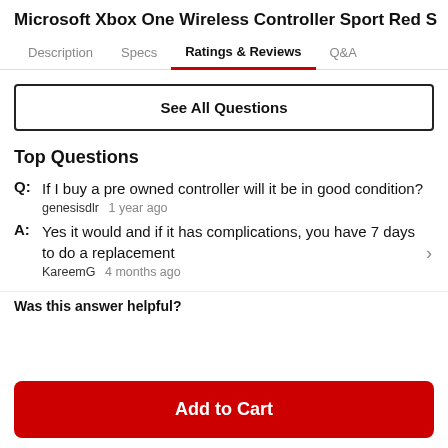Microsoft Xbox One Wireless Controller Sport Red S
Description  Specs  Ratings & Reviews  Q&A
See All Questions
Top Questions
Q: If I buy a pre owned controller will it be in good condition?
genesisdlr  1 year ago
A: Yes it would and if it has complications, you have 7 days to do a replacement
KareemG  4 months ago
Was this answer helpful?
Add to Cart